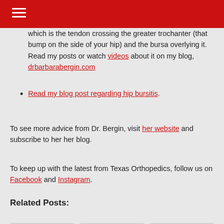which is the tendon crossing the greater trochanter (that bump on the side of your hip) and the bursa overlying it. Read my posts or watch videos about it on my blog, drbarbarabergin.com
Read my blog post regarding hip bursitis.
To see more advice from Dr. Bergin, visit her website and subscribe to her her blog.
To keep up with the latest from Texas Orthopedics, follow us on Facebook and Instagram.
Related Posts:
[Figure (photo): Three thumbnail images partially visible at bottom of page showing teal/blue curved shapes]